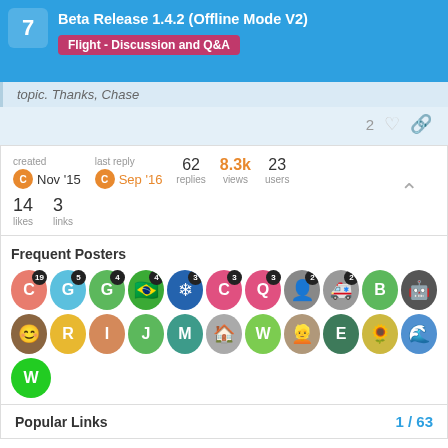Beta Release 1.4.2 (Offline Mode V2)
Flight - Discussion and Q&A
topic. Thanks, Chase
2 ♡ 🔗
| created | last reply | 62 replies | 8.3k views | 23 users |
| --- | --- | --- | --- | --- |
| Nov '15 | Sep '16 |  |  |  |
| 14 likes | 3 links |  |  |  |
Frequent Posters
[Figure (illustration): Grid of user avatar circles with post count badges, showing frequent posters. Row 1: C(19), G(5), G(4), Brazil flag(4), snowflake(3), C(3), Q(3), photo(2), photo(2), B, robot. Row 2: photo, R, I, J, M, house photo, W, person photo, E, yellow photo, blue photo. Row 3: W.]
Popular Links
1 / 63